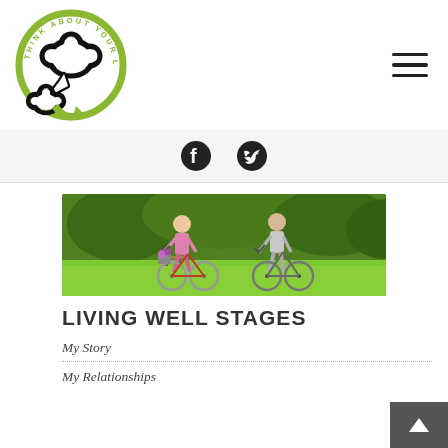[Figure (logo): Think About Your Life circular logo with green thought-bubble brain icon and arrow]
[Figure (illustration): Hamburger/menu icon — three horizontal lines]
[Figure (illustration): Facebook and Twitter social media icons in a light grey bar]
[Figure (photo): Two elderly people riding bicycles in a green park]
LIVING WELL STAGES
My Story
My Relationships